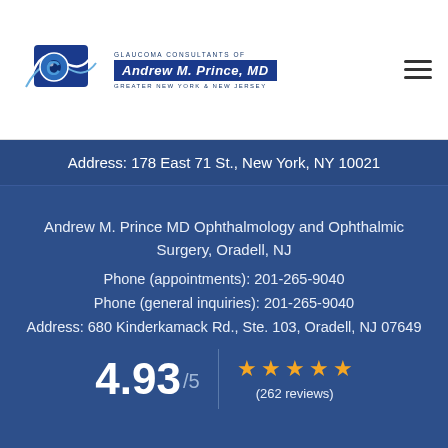[Figure (logo): Glaucoma Consultants of Andrew M. Prince, MD Greater New York & New Jersey logo with eye graphic]
Address: 178 East 71 St., New York, NY 10021
Andrew M. Prince MD Ophthalmology and Ophthalmic Surgery, Oradell, NJ
Phone (appointments): 201-265-9040
Phone (general inquiries): 201-265-9040
Address: 680 Kinderkamack Rd., Ste. 103, Oradell, NJ 07649
4.93 / 5  ★★★★★  (262 reviews)